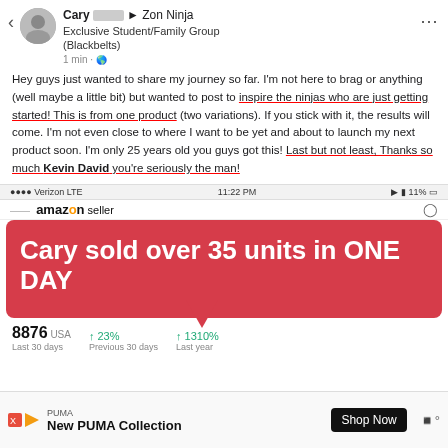[Figure (screenshot): Social media post screenshot showing Facebook group post by Cary in Zon Ninja Exclusive Student/Family Group (Blackbelts) with text about selling journey and thanks to Kevin David, overlaid with a red banner saying 'Cary sold over 35 units in ONE DAY', plus Amazon Seller app stats showing 8876 units, +23%, +1310%, and a PUMA advertisement at the bottom.]